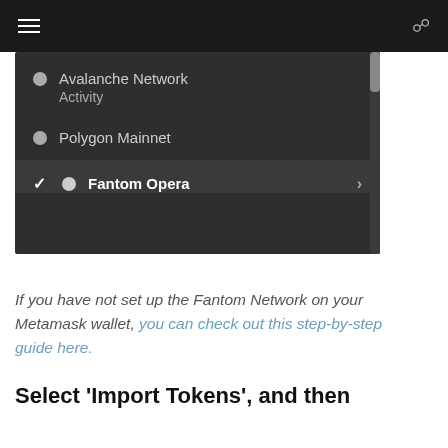≡   🔍
[Figure (screenshot): MetaMask network selection dropdown showing: Avalanche Network Activity, Polygon Mainnet, and Fantom Opera (selected with checkmark) with a scrollbar on the right]
If you have not set up the Fantom Network on your Metamask wallet, you can check out this step-by-step guide here.
Select 'Import Tokens', and then